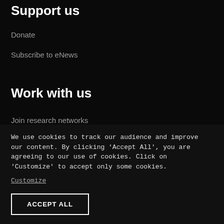Support us
Donate
Subscribe to eNews
Work with us
Join research networks
Jobs
RFPs
We use cookies to track our audience and improve our content. By clicking 'Accept All', you are agreeing to our use of cookies. Click on 'Customize' to accept only some cookies.
Customize
ACCEPT ALL